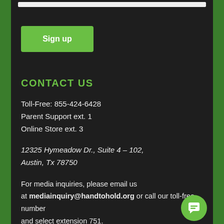[Figure (other): Green Sign up button on dark background]
CONTACT US
Toll-Free: 855-424-6428
Parent Support ext. 1
Online Store ext. 3
12325 Hymeadow Dr., Suite 4 – 102,
Austin, Tx 78750
For media inquiries, please email us at mediainquiry@handtohold.org or call our toll-free number and select extension 751.
More Contact Info